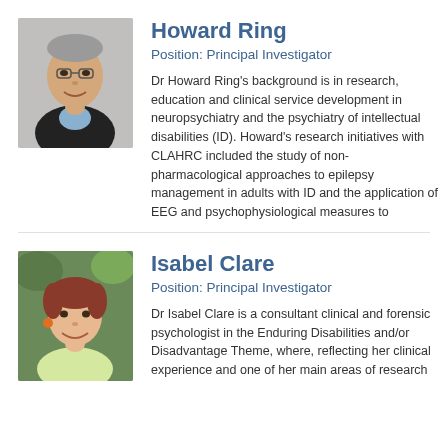[Figure (photo): Headshot of Howard Ring, a middle-aged man in a dark suit jacket and light blue shirt, smiling against a grey background.]
Howard Ring
Position: Principal Investigator
Dr Howard Ring's background is in research, education and clinical service development in neuropsychiatry and the psychiatry of intellectual disabilities (ID). Howard's research initiatives with CLAHRC included the study of non-pharmacological approaches to epilepsy management in adults with ID and the application of EEG and psychophysiological measures to
[Figure (photo): Headshot of Isabel Clare, a woman with short reddish-brown hair, wearing orange earrings, smiling outdoors with green foliage in the background.]
Isabel Clare
Position: Principal Investigator
Dr Isabel Clare is a consultant clinical and forensic psychologist in the Enduring Disabilities and/or Disadvantage Theme, where, reflecting her clinical experience and one of her main areas of research